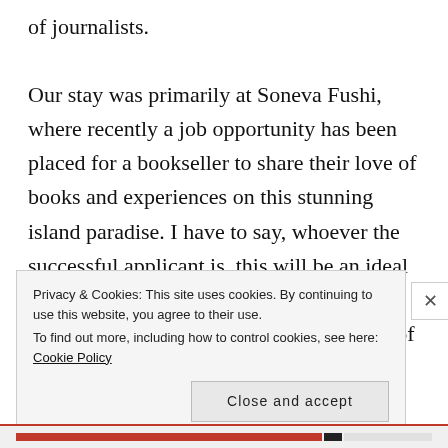of journalists.

Our stay was primarily at Soneva Fushi, where recently a job opportunity has been placed for a bookseller to share their love of books and experiences on this stunning island paradise. I have to say, whoever the successful applicant is, this will be an ideal role if you have the experience and the social media savvy to take full advantage of the
Privacy & Cookies: This site uses cookies. By continuing to use this website, you agree to their use.
To find out more, including how to control cookies, see here: Cookie Policy
Close and accept